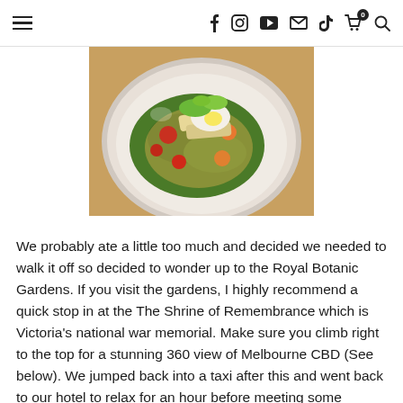Navigation header with hamburger menu and social/utility icons: facebook, instagram, youtube, email, tiktok, cart (0), search
[Figure (photo): A white bowl filled with a colorful salad dish featuring grilled halloumi, cherry tomatoes, kale, quinoa, and various vegetables, photographed from above on a wooden table]
We probably ate a little too much and decided we needed to walk it off so decided to wonder up to the Royal Botanic Gardens. If you visit the gardens, I highly recommend a quick stop in at the The Shrine of Remembrance which is Victoria's national war memorial. Make sure you climb right to the top for a stunning 360 view of Melbourne CBD (See below). We jumped back into a taxi after this and went back to our hotel to relax for an hour before meeting some